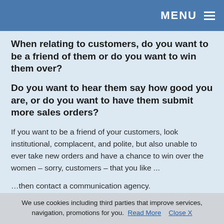MENU
When relating to customers, do you want to be a friend of them or do you want to win them over?
Do you want to hear them say how good you are, or do you want to have them submit more sales orders?
If you want to be a friend of your customers, look institutional, complacent, and polite, but also unable to ever take new orders and have a chance to win over the women – sorry, customers – that you like ...
…then contact a communication agency.
The raw material that communication agencies
We use cookies including third parties that improve services, navigation, promotions for you. Read More  Close X